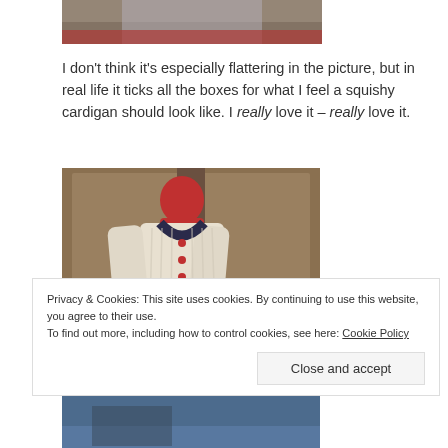[Figure (photo): Partial photo of a person wearing a knitted cardigan, cropped at top of page]
I don't think it's especially flattering in the picture, but in real life it ticks all the boxes for what I feel a squishy cardigan should look like. I really love it – really love it.
[Figure (photo): Photo of a cream-colored knitted cardigan with dark navy collar trim and red buttons, displayed on a red dress form mannequin in front of a wooden wardrobe]
Privacy & Cookies: This site uses cookies. By continuing to use this website, you agree to their use.
To find out more, including how to control cookies, see here: Cookie Policy
[Figure (photo): Bottom portion of another photo, partially visible at the bottom of the page]